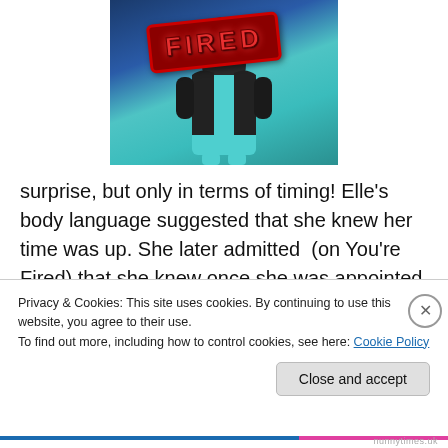[Figure (photo): A person wearing a teal/turquoise dress with a black jacket, with a red 'FIRED' stamp overlaid on the image. Background is dark blue.]
surprise, but only in terms of timing! Elle’s body language suggested that she knew her time was up. She later admitted (on You’re Fired) that she knew once she was appointed PM. In truth, I don’t see how she got on the
Privacy & Cookies: This site uses cookies. By continuing to use this website, you agree to their use.
To find out more, including how to control cookies, see here: Cookie Policy
Close and accept